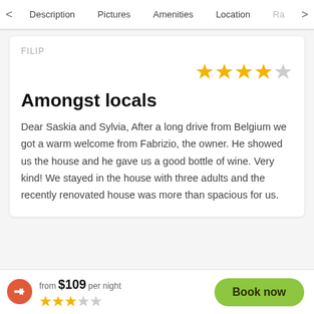< Description  Pictures  Amenities  Location  Ra >
FILIP
[Figure (other): 4 out of 5 stars rating (4 yellow stars, 1 gray star)]
Amongst locals
Dear Saskia and Sylvia, After a long drive from Belgium we got a warm welcome from Fabrizio, the owner. He showed us the house and he gave us a good bottle of wine. Very kind! We stayed in the house with three adults and the recently renovated house was more than spacious for us.
from $109 per night  ★★★☆  Book now